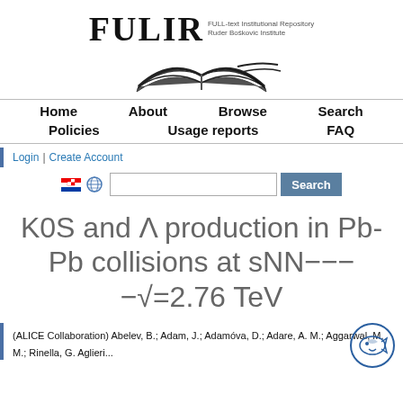[Figure (logo): FULIR logo with open book illustration and subtitle 'FULL-text Institutional Repository Ruder Boskovic Institute']
Home | About | Browse | Search | Policies | Usage reports | FAQ
Login | Create Account
K0S and Λ production in Pb-Pb collisions at sNN−−−−√=2.76 TeV
(ALICE Collaboration) Abelev, B.; Adam, J.; Adamova, D.; Adare, A. M.; Aggarwal, M. M.; Rinella, G. Aglieri...